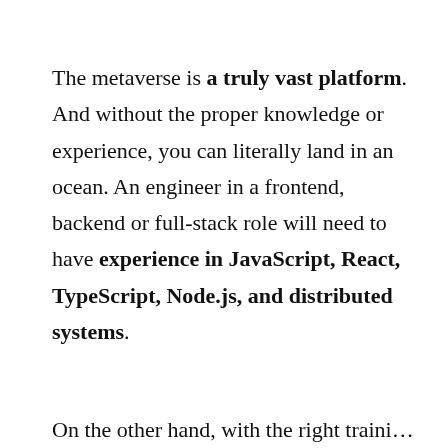The metaverse is a truly vast platform. And without the proper knowledge or experience, you can literally land in an ocean. An engineer in a frontend, backend or full-stack role will need to have experience in JavaScript, React, TypeScript, Node.js, and distributed systems.
On the other hand, with the right training...